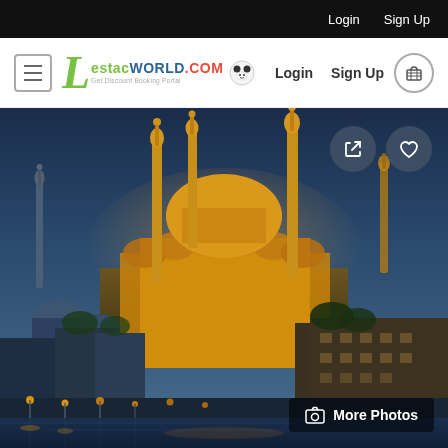Login  Sign Up
[Figure (logo): Lestacworld.com logo with hamburger menu, Login, Sign Up links, and cart icon in navigation bar]
[Figure (photo): Illuminated mosque (Suleymaniye Mosque) in Istanbul at dusk, with minarets and blue sky in background, waterfront city view]
More Photos